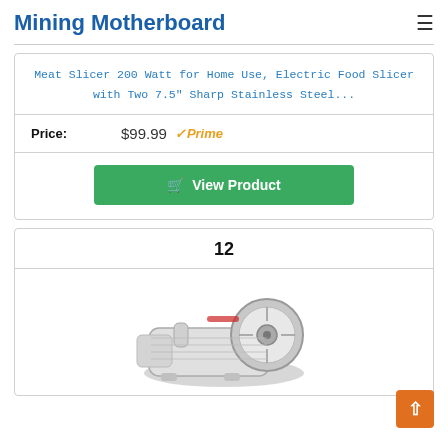Mining Motherboard
Meat Slicer 200 Watt for Home Use, Electric Food Slicer with Two 7.5" Sharp Stainless Steel...
Price: $99.99 Prime
View Product
12
[Figure (photo): White electric meat/food slicer appliance with circular blade, viewed from slight angle]